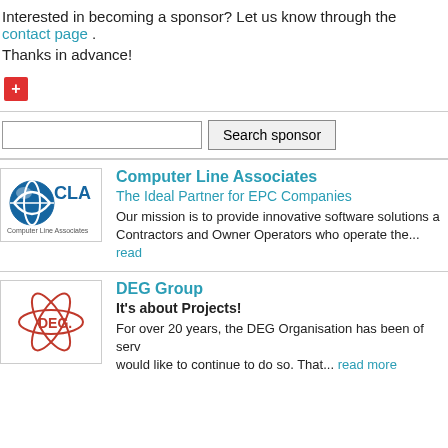Interested in becoming a sponsor? Let us know through the contact page .
Thanks in advance!
[Figure (other): Red plus button icon]
Search sponsor (input field and button)
Computer Line Associates
The Ideal Partner for EPC Companies
Our mission is to provide innovative software solutions a... Contractors and Owner Operators who operate the... read
[Figure (logo): CLA - Computer Line Associates logo with blue globe icon]
DEG Group
It's about Projects!
For over 20 years, the DEG Organisation has been of serv... would like to continue to do so. That... read more
[Figure (logo): DEG Group logo with red atom/star graphic]